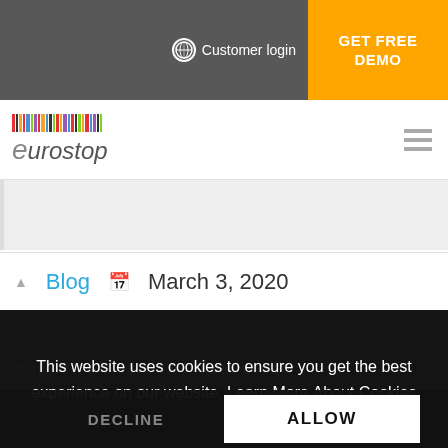Customer login | GET FREE DEMO
[Figure (logo): Eurostop logo with colorful barcode strip above the italic 'eurostop' text]
Blog   March 3, 2020
SUBSCRIBE TO OUR NEWSLETTER
This website uses cookies to ensure you get the best experience on our website. Learn More About Cookies
DECLINE
ALLOW